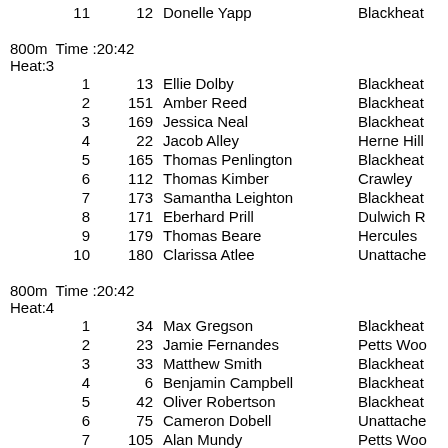11   12   Donelle Yapp   Blackheat
800m  Time :20:42
Heat:3
1   13   Ellie Dolby   Blackheat
2   151   Amber Reed   Blackheat
3   169   Jessica Neal   Blackheat
4   22   Jacob Alley   Herne Hill
5   165   Thomas Penlington   Blackheat
6   112   Thomas Kimber   Crawley
7   173   Samantha Leighton   Blackheat
8   171   Eberhard Prill   Dulwich R
9   179   Thomas Beare   Hercules
10   180   Clarissa Atlee   Unattache
800m  Time :20:42
Heat:4
1   34   Max Gregson   Blackheat
2   23   Jamie Fernandes   Petts Woo
3   33   Matthew Smith   Blackheat
4   6   Benjamin Campbell   Blackheat
5   42   Oliver Robertson   Blackheat
6   75   Cameron Dobell   Unattache
7   105   Alan Mundy   Petts Woo